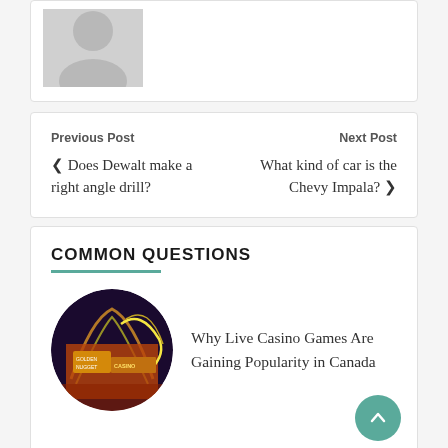[Figure (photo): Gray silhouette/avatar placeholder image of a person, partially cropped at top]
Previous Post
‹ Does Dewalt make a right angle drill?
Next Post
What kind of car is the Chevy Impala? ›
COMMON QUESTIONS
[Figure (photo): Circular thumbnail of a casino exterior at night with neon lights, Golden Nugget sign visible]
Why Live Casino Games Are Gaining Popularity in Canada
[Figure (photo): Circular thumbnail partially visible at bottom, appears to show a streaming device or media interface]
Streaming Services Offering